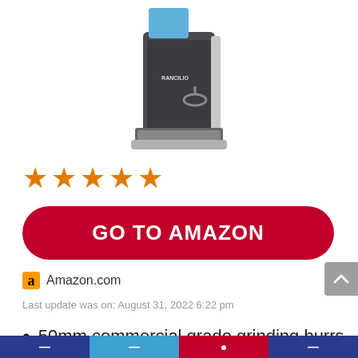[Figure (photo): Rancilio espresso machine or grinder product photo on white background, showing a metallic/dark grey appliance with a drip tray]
★★★★★
GO TO AMAZON
a Amazon.com
Last update was on: August 31, 2022 6:22 pm
50mm commercial grade grinding burrs